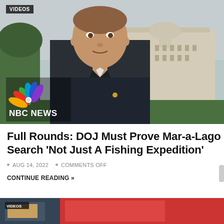[Figure (screenshot): NBC News video screenshot showing a man in a dark suit with a red tie speaking in front of the US Capitol building. The NBC News peacock logo and 'NBC NEWS' text appear in the lower left corner. A 'VIDEOS' badge appears in the upper left corner.]
Full Rounds: DOJ Must Prove Mar-a-Lago Search 'Not Just A Fishing Expedition'
AUG 14, 2022 • COMMENTS OFF
CONTINUE READING »
[Figure (screenshot): Partial view of another article's thumbnail image at the bottom of the page, partially cropped.]